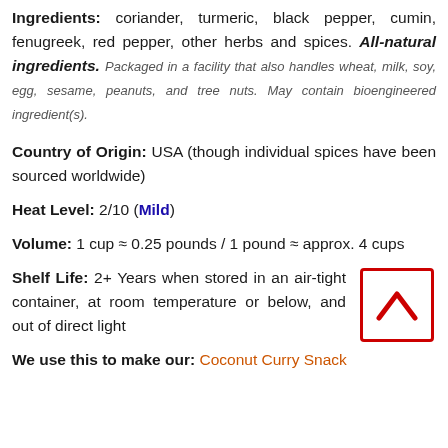Ingredients: coriander, turmeric, black pepper, cumin, fenugreek, red pepper, other herbs and spices. All-natural ingredients. Packaged in a facility that also handles wheat, milk, soy, egg, sesame, peanuts, and tree nuts. May contain bioengineered ingredient(s).
Country of Origin: USA (though individual spices have been sourced worldwide)
Heat Level: 2/10 (Mild)
Volume: 1 cup ≈ 0.25 pounds / 1 pound ≈ approx. 4 cups
Shelf Life: 2+ Years when stored in an air-tight container, at room temperature or below, and out of direct light
We use this to make our: Coconut Curry Snack